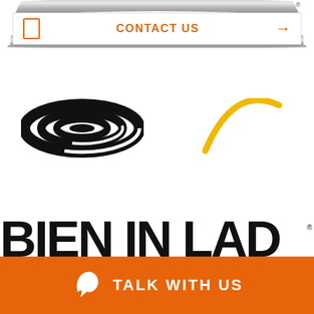[Figure (screenshot): Top chrome/navigation bar with metallic/silver curved bar design and registered trademark symbol]
[Figure (infographic): Contact Us navigation bar with orange icon, orange CONTACT US text, and orange arrow]
[Figure (logo): Black spiral/swirl logo on left side]
[Figure (logo): Yellow curved swoosh/arc logo on right side]
[Figure (screenshot): Partial bold black text at bottom reading BIEN IN LAD with registered trademark, partially cut off]
[Figure (infographic): Orange footer bar with phone icon and TALK WITH US text in white bold letters]